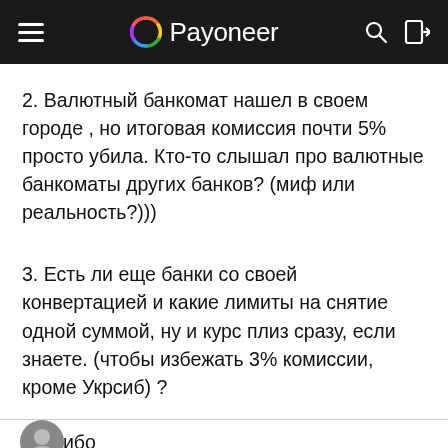Payoneer
2. Валютный банкомат нашел в своем городе , но итоговая комиссия почти 5% просто убила. Кто-то слышал про валютные банкоматы других банков? (миф или реальность?)))
3. Есть ли еще банки со своей конвертацией и какие лимиты на снятие одной суммой, ну и курс плиз сразу, если знаете. (чтобы избежать 3% комиссии, кроме Укрсиб) ?
спасибо